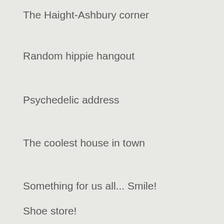The Haight-Ashbury corner
Random hippie hangout
Psychedelic address
The coolest house in town
Something for us all... Smile!
Shoe store!